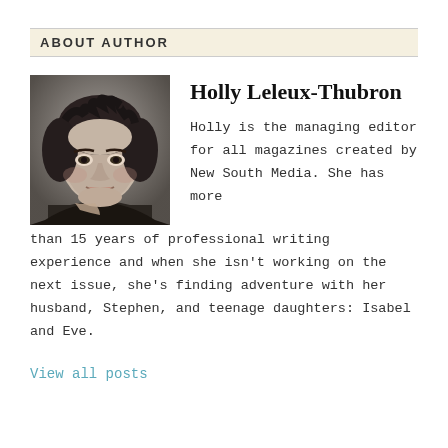ABOUT AUTHOR
[Figure (photo): Black and white headshot photo of Holly Leleux-Thubron]
Holly Leleux-Thubron
Holly is the managing editor for all magazines created by New South Media. She has more than 15 years of professional writing experience and when she isn't working on the next issue, she's finding adventure with her husband, Stephen, and teenage daughters: Isabel and Eve.
View all posts